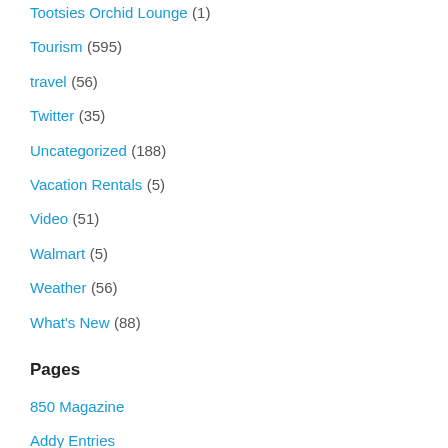Tootsies Orchid Lounge (1)
Tourism (595)
travel (56)
Twitter (35)
Uncategorized (188)
Vacation Rentals (5)
Video (51)
Walmart (5)
Weather (56)
What's New (88)
Pages
850 Magazine
Addy Entries